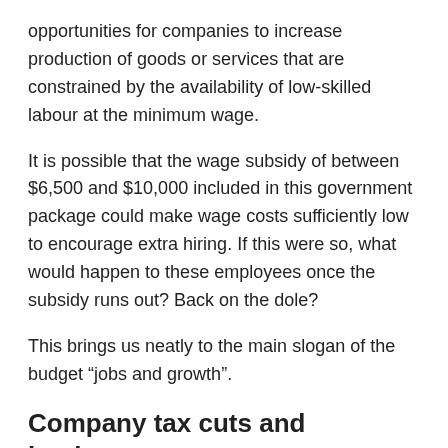opportunities for companies to increase production of goods or services that are constrained by the availability of low-skilled labour at the minimum wage.
It is possible that the wage subsidy of between $6,500 and $10,000 included in this government package could make wage costs sufficiently low to encourage extra hiring. If this were so, what would happen to these employees once the subsidy runs out? Back on the dole?
This brings us neatly to the main slogan of the budget “jobs and growth”.
Company tax cuts and business
Company tax cuts are at the centre of the government’s claims to a jobs and growth budget. It’s standard rhetoric